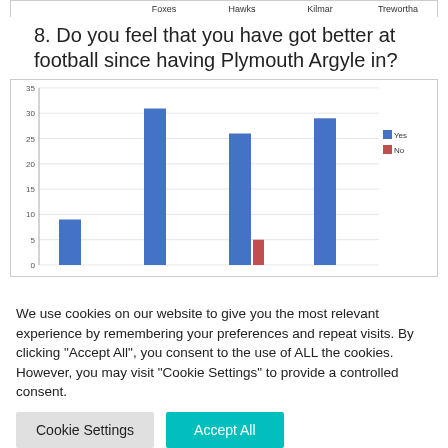| Foxes | Hawks | Kilmar | Trewortha |
| --- | --- | --- | --- |
|  |
8. Do you feel that you have got better at football since having Plymouth Argyle in?
[Figure (grouped-bar-chart): ]
We use cookies on our website to give you the most relevant experience by remembering your preferences and repeat visits. By clicking “Accept All”, you consent to the use of ALL the cookies. However, you may visit "Cookie Settings" to provide a controlled consent.
Cookie Settings
Accept All